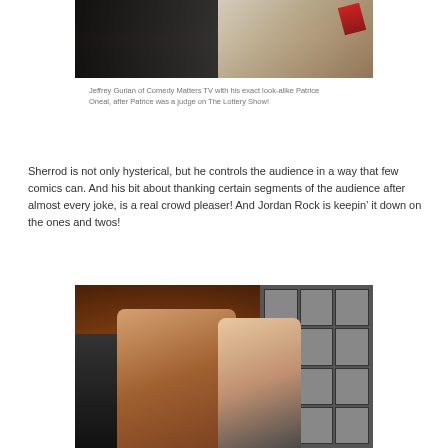[Figure (photo): Photo of two people together, partially cropped at top — Jeffrey Gurian and Patrice Oneal]
Jeffrey Gurian of Comedy Matters TV with his exact look-alike Patrice Oneal, after Patrice was a judge on The Lottery Show!
Sherrod is not only hysterical, but he controls the audience in a way that few comics can. And his bit about thanking certain segments of the audience after almost every joke, is a real crowd pleaser! And Jordan Rock is keepin’ it down on the ones and twos!
[Figure (photo): Photo of two people smiling together in a venue — a man in a plaid shirt and a woman with blonde hair in a grey top]